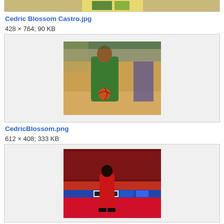[Figure (photo): Partial top strip of a basketball image visible at top of page]
Cedric Blossom Castro.jpg
428 × 764; 90 KB
[Figure (photo): Basketball player in green uniform holding a ball on an indoor court, blurred background]
CedricBlossom.png
612 × 408; 333 KB
[Figure (photo): Basketball player in red uniform standing on court with crowd in background, arena setting]